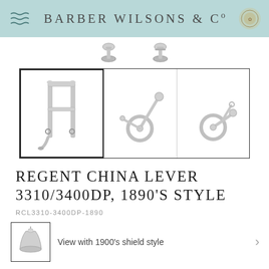BARBER WILSONS & Co
[Figure (photo): Top row of two small chrome plumbing fixture detail photos]
[Figure (photo): Three-panel product gallery: left panel shows full faucet assembly (selected/highlighted), center shows chrome lever handle from above, right shows chrome lever handle side view]
REGENT CHINA LEVER 3310/3400DP, 1890'S STYLE
RCL3310-3400DP-1890
[Figure (photo): Small thumbnail of chrome faucet fixture with 1900's shield style]
View with 1900's shield style